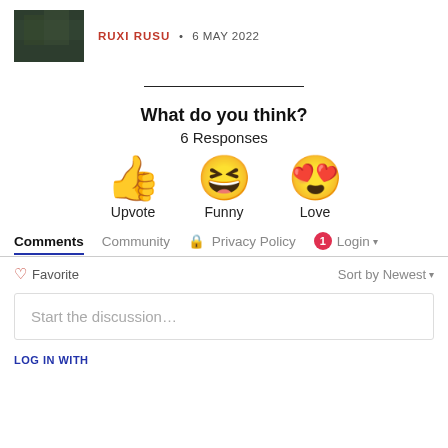RUXI RUSU • 6 MAY 2022
[Figure (photo): Small thumbnail image with dark green/nature background]
What do you think?
6 Responses
[Figure (infographic): Three reaction emojis: thumbs up (Upvote), grinning face with tongue (Funny), heart eyes face (Love)]
Comments  Community  Privacy Policy  1  Login
♡ Favorite
Sort by Newest ▾
Start the discussion…
LOG IN WITH